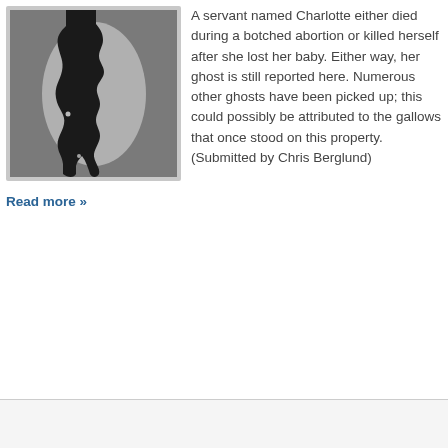[Figure (illustration): A thumbnail image with a gray background showing a dark silhouette shape resembling a dripping or jagged form against a lighter center, framed with a light gray border.]
A servant named Charlotte either died during a botched abortion or killed herself after she lost her baby. Either way, her ghost is still reported here. Numerous other ghosts have been picked up; this could possibly be attributed to the gallows that once stood on this property. (Submitted by Chris Berglund)
Read more »